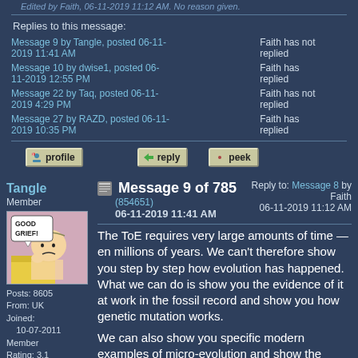Edited by Faith, 06-11-2019 11:12 AM. No reason given.
Replies to this message:
Message 9 by Tangle, posted 06-11-2019 11:41 AM — Faith has not replied
Message 10 by dwise1, posted 06-11-2019 12:55 PM — Faith has replied
Message 22 by Taq, posted 06-11-2019 4:29 PM — Faith has not replied
Message 27 by RAZD, posted 06-11-2019 10:35 PM — Faith has replied
[Figure (screenshot): Forum action buttons: profile, reply, peek]
Tangle
Member
Message 9 of 785 (854651) 06-11-2019 11:41 AM — Reply to: Message 8 by Faith 06-11-2019 11:12 AM
[Figure (illustration): Charlie Brown 'Good Grief!' cartoon avatar]
The ToE requires very large amounts of time — en millions of years. We can't therefore show you step by step how evolution has happened. What we can do is show you the evidence of it at work in the fossil record and show you how genetic mutation works.
We can also show you specific modern examples of micro-evolution and show the
Posts: 8605
From: UK
Joined:
   10-07-2011
Member
Rating: 3.1